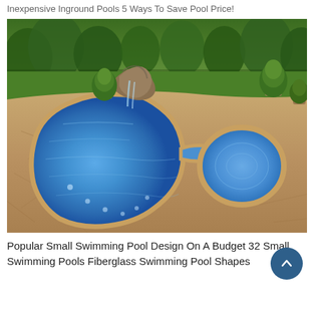Inexpensive Inground Pools 5 Ways To Save Pool Price!
[Figure (photo): Aerial view of a freeform fiberglass inground swimming pool with attached spa/hot tub, rock waterfall feature, surrounding stamped concrete patio, potted plants, lush green trees and lawn in background.]
Popular Small Swimming Pool Design On A Budget 32 Small Swimming Pools Fiberglass Swimming Pool Shapes